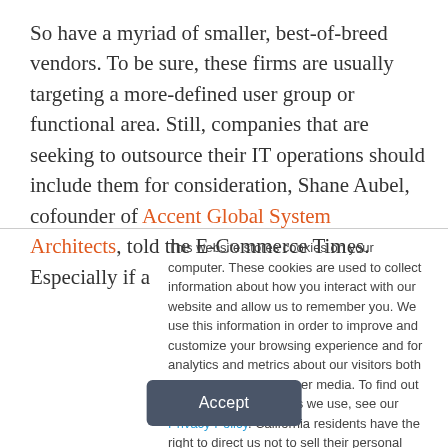So have a myriad of smaller, best-of-breed vendors. To be sure, these firms are usually targeting a more-defined user group or functional area. Still, companies that are seeking to outsource their IT operations should include them for consideration, Shane Aubel, cofounder of Accent Global System Architects, told the E-Commerce Times. Especially if a
This website stores cookies on your computer. These cookies are used to collect information about how you interact with our website and allow us to remember you. We use this information in order to improve and customize your browsing experience and for analytics and metrics about our visitors both on this website and other media. To find out more about the cookies we use, see our Privacy Policy. California residents have the right to direct us not to sell their personal information to third parties by filing an Opt-Out Request: Do Not Sell My Personal Info.